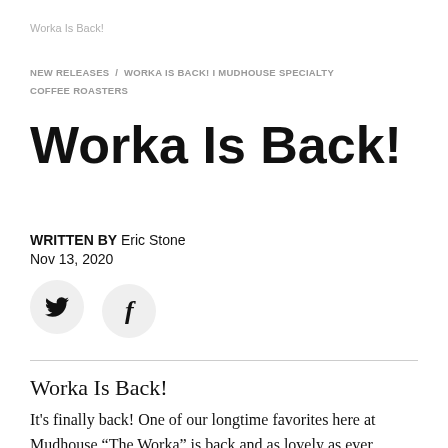Worka Is Back!
NEW RELEASES / WORKA IS BACK! I MUDHOUSE SPECIALTY COFFEE ROASTERS
Worka Is Back!
WRITTEN BY Eric Stone
Nov 13, 2020
[Figure (illustration): Social share buttons: Twitter bird icon and Facebook 'f' icon, both in circular light grey buttons]
Worka Is Back!
It's finally back! One of our longtime favorites here at Mudhouse “The Worka” is back and as lovely as ever.